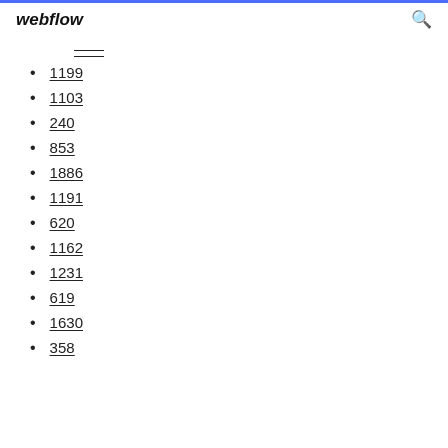webflow
1199
1103
240
853
1886
1191
620
1162
1231
619
1630
358